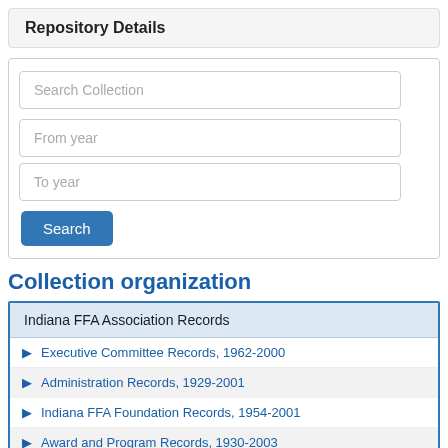Repository Details
Search Collection
From year
To year
Search
Collection organization
Indiana FFA Association Records
Executive Committee Records, 1962-2000
Administration Records, 1929-2001
Indiana FFA Foundation Records, 1954-2001
Award and Program Records, 1930-2003
State FFA Convention Records, 1959-2006